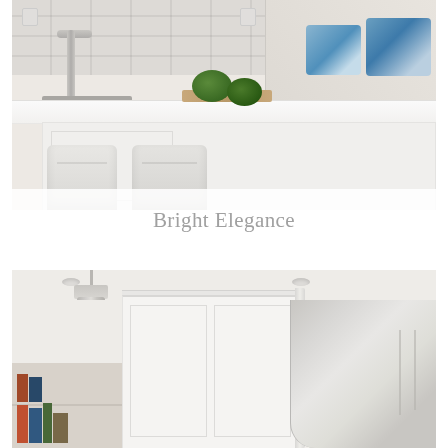[Figure (photo): Bright white kitchen interior showing a large island with white marble countertop, white tufted bar stools, subway tile backsplash, two watermelons on a cutting board, a gooseneck faucet, and a banquette seating area with blue patterned pillows on the right.]
Bright Elegance
[Figure (photo): Close-up of white kitchen cabinets with crown molding and panel details, a chrome glass-tube pendant light hanging from the ceiling, and a stainless steel range hood on the right side. Bookshelves with colorful books are visible in the lower left.]